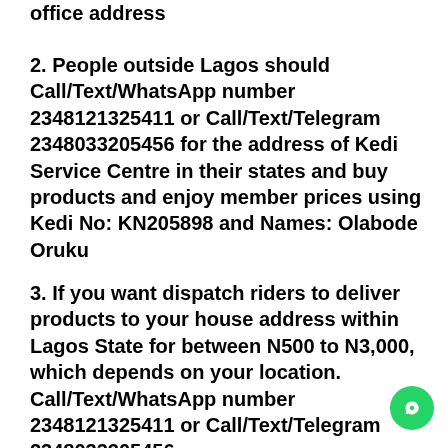office address
2. People outside Lagos should Call/Text/WhatsApp number 2348121325411 or Call/Text/Telegram 2348033205456 for the address of Kedi Service Centre in their states and buy products and enjoy member prices using Kedi No: KN205898 and Names: Olabode Oruku
3. If you want dispatch riders to deliver products to your house address within Lagos State for between N500 to N3,000, which depends on your location. Call/Text/WhatsApp number 2348121325411 or Call/Text/Telegram 2348033205456.